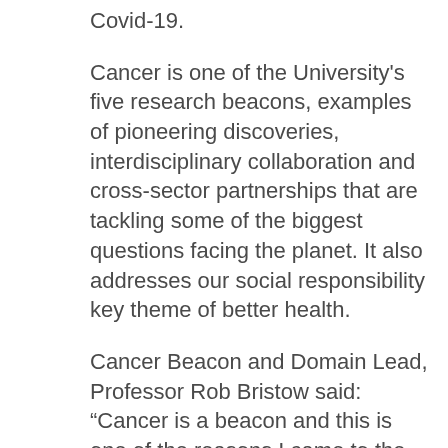Covid-19.
Cancer is one of the University's five research beacons, examples of pioneering discoveries, interdisciplinary collaboration and cross-sector partnerships that are tackling some of the biggest questions facing the planet. It also addresses our social responsibility key theme of better health.
Cancer Beacon and Domain Lead, Professor Rob Bristow said: “Cancer is a beacon and this is one of the reasons I came to the University to both lead, and collaborate with world-leading scientists in a team science approach to tackle complex and challenging